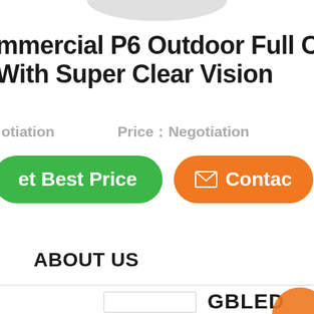mmercial P6 Outdoor Full Color With Super Clear Vision
otiation   Price：Negotiation
et Best Price   Contact
ABOUT US
GBLED